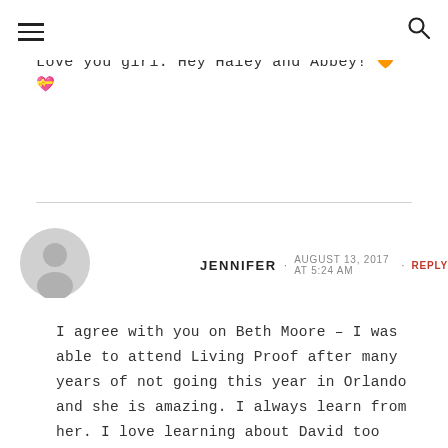☰ [hamburger menu] [search icon]
Love you girl. Hey Haley and Abbey! 🧡💝
JENNIFER · AUGUST 13, 2017 AT 5:24 AM · REPLY
I agree with you on Beth Moore – I was able to attend Living Proof after many years of not going this year in Orlando and she is amazing. I always learn from her. I love learning about David too because those scriptures just have so much in them – I would love the books. Thank you Carmen for all do and the Joy FM